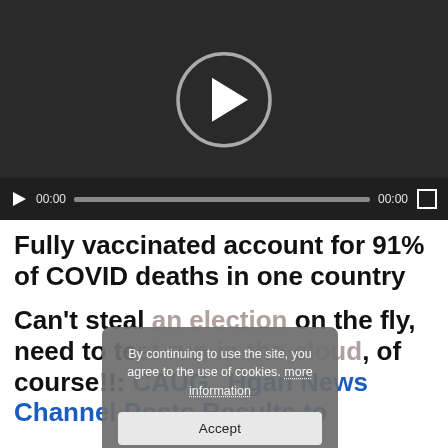[Figure (screenshot): Video player with dark background, circular play button in center, and playback controls at bottom showing 00:00 timestamp and progress bar]
Fully vaccinated account for 91% of COVID deaths in one country
Can't steal an election on the fly, need to test run in the cloud, of course!!: CAUGHT: Morgan News Channel Posts Results to
By continuing to use the site, you agree to the use of cookies. more information [Accept button]